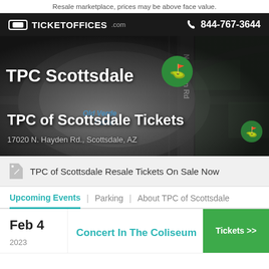Resale marketplace, prices may be above face value.
[Figure (logo): TicketOffices.com logo on dark header bar with phone number 844-767-3644]
[Figure (map): Map showing TPC Scottsdale location with green map pin, N Hayden Rd label, Old Verde Canal label, dark overlay]
TPC of Scottsdale Tickets
17020 N. Hayden Rd., Scottsdale, AZ
TPC of Scottsdale Resale Tickets On Sale Now
Upcoming Events  |  Parking  |  About TPC of Scottsdale
Feb 4
Concert In The Coliseum
Tickets >>